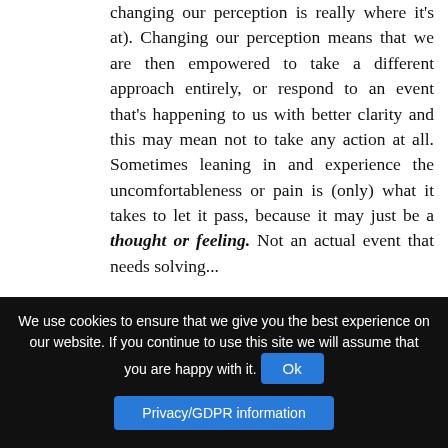changing our perception is really where it's at). Changing our perception means that we are then empowered to take a different approach entirely, or respond to an event that's happening to us with better clarity and this may mean not to take any action at all. Sometimes leaning in and experience the uncomfortableness or pain is (only) what it takes to let it pass, because it may just be a thought or feeling. Not an actual event that needs solving...
We really don't have all that much control over what happens in life, as much as we like to think we do! But we have the power to choose how we respond and react to things that comes along. For me to release (and relish) this power it has to start with awareness. Without awareness...
We use cookies to ensure that we give you the best experience on our website. If you continue to use this site we will assume that you are happy with it. Ok
Privacy/GDPR information